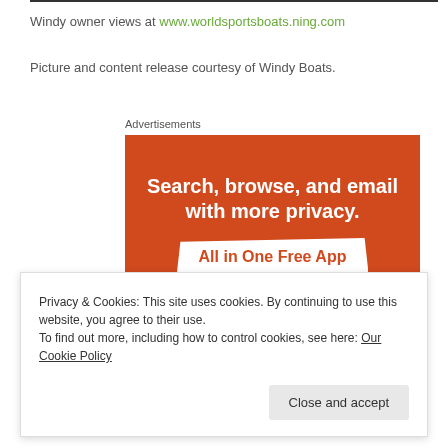Windy owner views at www.worldsportsboats.ning.com
Picture and content release courtesy of Windy Boats.
Advertisements
[Figure (illustration): Advertisement banner with orange background. Text reads: 'Search, browse, and email with more privacy. All in One Free App']
Privacy & Cookies: This site uses cookies. By continuing to use this website, you agree to their use. To find out more, including how to control cookies, see here: Our Cookie Policy
Close and accept